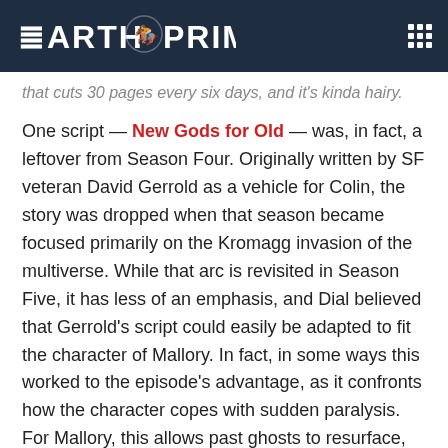EARTH PRIME
that cuts 30 pages every six days, and it's kinda hairy.
One script — New Gods for Old — was, in fact, a leftover from Season Four. Originally written by SF veteran David Gerrold as a vehicle for Colin, the story was dropped when that season became focused primarily on the Kromagg invasion of the multiverse. While that arc is revisited in Season Five, it has less of an emphasis, and Dial believed that Gerrold's script could easily be adapted to fit the character of Mallory. In fact, in some ways this worked to the episode's advantage, as it confronts how the character copes with sudden paralysis. For Mallory, this allows past ghosts to resurface, as he reverts to the infirm state he endured before Geiger's intervention.
Asked if he had ever been tempted to submit his own ideas for the series, Floyd laughs.